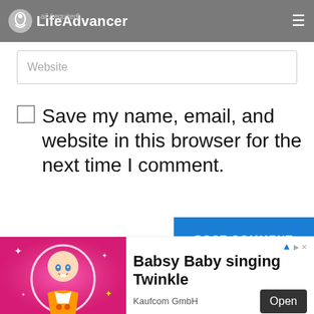LifeAdvancer
Website
Save my name, email, and website in this browser for the next time I comment.
POST COMMENT
By continuing to use this website, you consent to the use of cookies in accordance our Cookie Policy.
[Figure (screenshot): Ad banner showing animated baby character on pink background with text 'Babsy Baby singing Twinkle' and Open button, by Kaufcom GmbH]